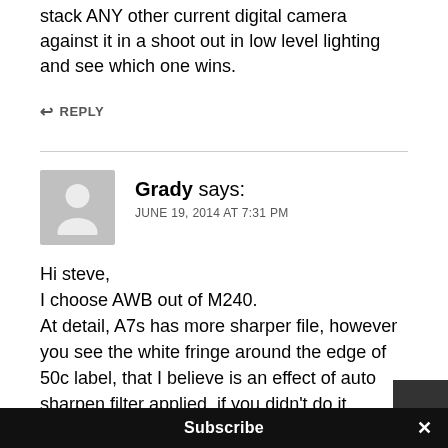stack ANY other current digital camera against it in a shoot out in low level lighting and see which one wins.
↩ REPLY
Grady says: JUNE 19, 2014 AT 7:31 PM
Hi steve,
I choose AWB out of M240.
At detail, A7s has more sharper file, however you see the white fringe around the edge of 50c label, that I believe is an effect of auto sharpen filter applied, if you didn't do it.
Subscribe